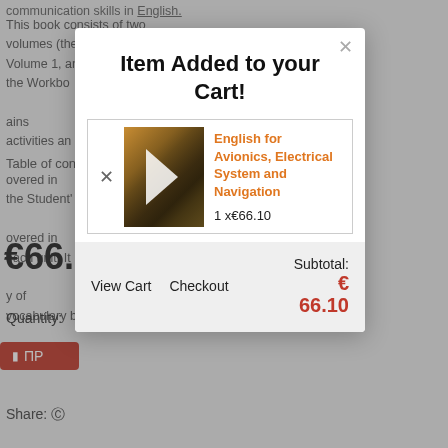communication skills in English.
This book consists of two volumes (the Student's Book – Volume 1, and the Workbook – Volume 2). The Workbook contains activities and exercises based on topics covered in the Student's Book. The structure follows covered in each unit. It provides a variety of vocabulary ...
Table of con...
€66.1...
Quantity:
Share:
Item Added to your Cart!
English for Avionics, Electrical System and Navigation
1 x€66.10
Subtotal:
€ 66.10
View Cart
Checkout